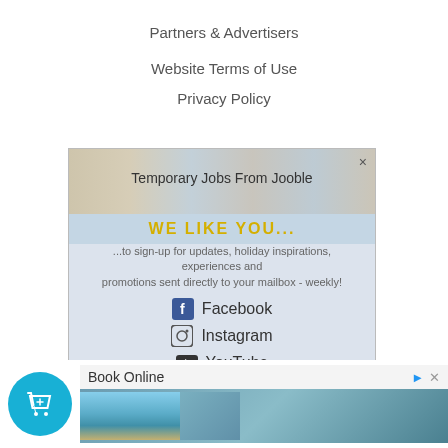Partners & Advertisers
Website Terms of Use
Privacy Policy
[Figure (screenshot): Popup overlay with Jooble job ad banner at top, social media links (Facebook, Instagram, YouTube), LET'S GO! and NOT YET buttons, WE LIKE YOU... text, and © 2022, BYKidO copyright notice]
Powered by Shopify
[Figure (screenshot): Footer area with blue shopping cart button icon on left and Book Online advertisement on right showing a pool/hotel image]